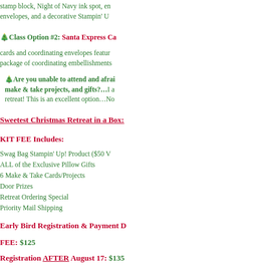stamp block, Night of Navy ink spot, envelopes, and a decorative Stampin' U
🎄Class Option #2:  Santa Express Ca
cards and coordinating envelopes featur package of coordinating embellishments
🎄Are you unable to attend and afraid make & take projects, and gifts?…I a retreat! This is an excellent option…No
Sweetest Christmas Retreat in a Box:
KIT FEE Includes:
Swag Bag Stampin' Up! Product ($50 V
ALL of the Exclusive Pillow Gifts
6 Make & Take Cards/Projects
Door Prizes
Retreat Ordering Special
Priority Mail Shipping
Early Bird Registration & Payment D
FEE: $125
Registration AFTER August 17: $135